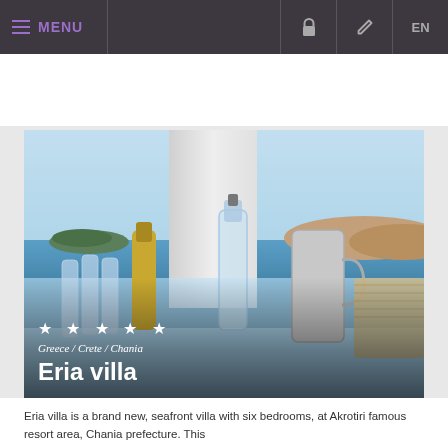MENU  EN
[Figure (photo): Seafront villa terrace with bottles, glassware, overlooking the sea and an island. Text overlay shows 5 stars, 'Greece / Crete / Chania', and 'Eria villa']
★ ★ ★ ★ ★
Greece / Crete / Chania
Eria villa
Eria villa is a brand new, seafront villa with six bedrooms, at Akrotiri famous resort area, Chania prefecture. This